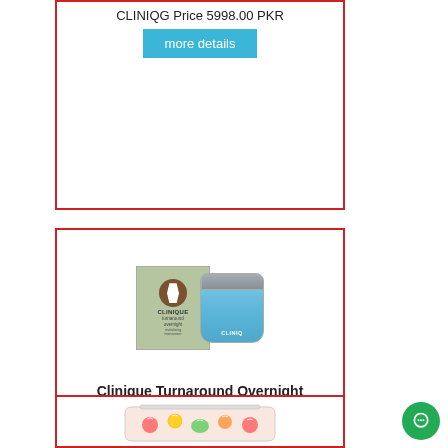CLINIQG Price 5998.00 PKR
more details
[Figure (photo): Clinique Turnaround Overnight Revitalizing Moisturizer product box and jar]
Clinique Turnaround Overnight Revitalizing Moisturizer for Women, 1.7 Ounce
CLINIQW Price 14362.00 PKR
more details
[Figure (photo): Colorful cosmetic bag with fruit print design]